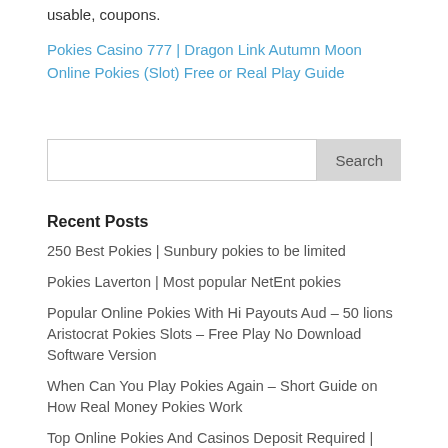usable, coupons.
Pokies Casino 777 | Dragon Link Autumn Moon Online Pokies (Slot) Free or Real Play Guide
Search
Recent Posts
250 Best Pokies | Sunbury pokies to be limited
Pokies Laverton | Most popular NetEnt pokies
Popular Online Pokies With Hi Payouts Aud – 50 lions Aristocrat Pokies Slots – Free Play No Download Software Version
When Can You Play Pokies Again – Short Guide on How Real Money Pokies Work
Top Online Pokies And Casinos Deposit Required |